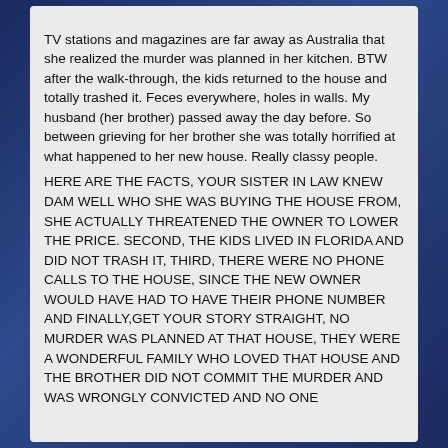TV stations and magazines are far away as Australia that she realized the murder was planned in her kitchen. BTW after the walk-through, the kids returned to the house and totally trashed it. Feces everywhere, holes in walls. My husband (her brother) passed away the day before. So between grieving for her brother she was totally horrified at what happened to her new house. Really classy people.
HERE ARE THE FACTS, YOUR SISTER IN LAW KNEW DAM WELL WHO SHE WAS BUYING THE HOUSE FROM, SHE ACTUALLY THREATENED THE OWNER TO LOWER THE PRICE. SECOND, THE KIDS LIVED IN FLORIDA AND DID NOT TRASH IT, THIRD, THERE WERE NO PHONE CALLS TO THE HOUSE, SINCE THE NEW OWNER WOULD HAVE HAD TO HAVE THEIR PHONE NUMBER AND FINALLY,GET YOUR STORY STRAIGHT, NO MURDER WAS PLANNED AT THAT HOUSE, THEY WERE A WONDERFUL FAMILY WHO LOVED THAT HOUSE AND THE BROTHER DID NOT COMMIT THE MURDER AND WAS WRONGLY CONVICTED AND NO ONE